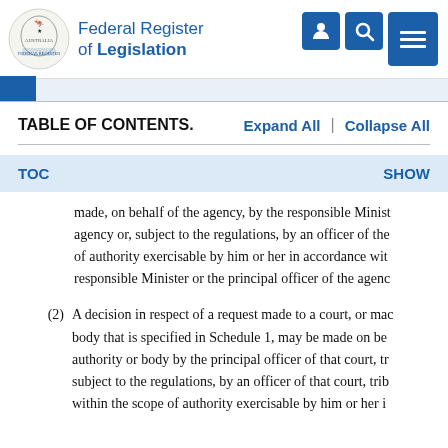Federal Register of Legislation
TABLE OF CONTENTS.   Expand All  |  Collapse All
TOC   SHOW
made, on behalf of the agency, by the responsible Minist agency or, subject to the regulations, by an officer of the of authority exercisable by him or her in accordance wit responsible Minister or the principal officer of the agenc
(2)  A decision in respect of a request made to a court, or mac body that is specified in Schedule 1, may be made on be authority or body by the principal officer of that court, tr subject to the regulations, by an officer of that court, trib within the scope of authority exercisable by him or her i